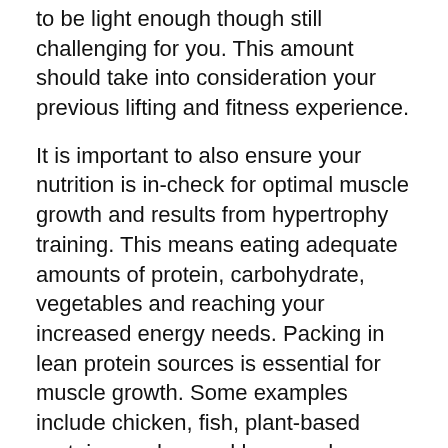to be light enough though still challenging for you. This amount should take into consideration your previous lifting and fitness experience.
It is important to also ensure your nutrition is in-check for optimal muscle growth and results from hypertrophy training. This means eating adequate amounts of protein, carbohydrate, vegetables and reaching your increased energy needs. Packing in lean protein sources is essential for muscle growth. Some examples include chicken, fish, plant-based protein powders and bars, and eggs.
When?
This depends on your weight-lifting experience, fitness levels and availability.
Heavy weightlifting 3 days per week can allow